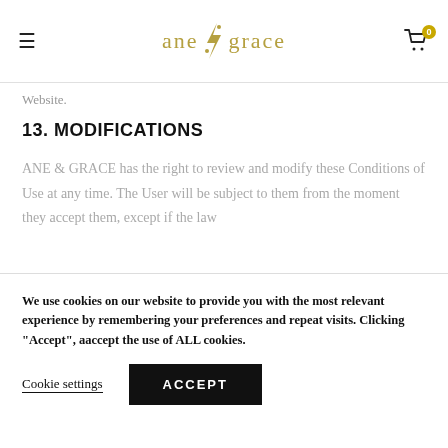ane ⚡ grace
Website.
13. MODIFICATIONS
ANE & GRACE has the right to review and modify these Conditions of Use at any time. The User will be subject to them from the moment they accept them, except if the law
We use cookies on our website to provide you with the most relevant experience by remembering your preferences and repeat visits. Clicking "Accept", aaccept the use of ALL cookies.
Cookie settings   ACCEPT